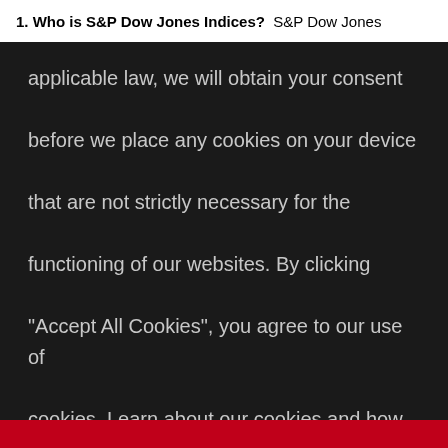1. Who is S&P Dow Jones Indices?  S&P Dow Jones
applicable law, we will obtain your consent before we place any cookies on your device that are not strictly necessary for the functioning of our websites. By clicking "Accept All Cookies", you agree to our use of cookies. Learn about our cookies and how to modify your preferences in our Cookie Notice. Visit our updated Privacy Policy, Cookie Notice, and Terms of Use, effective 28 February 2022.
Cookie Settings